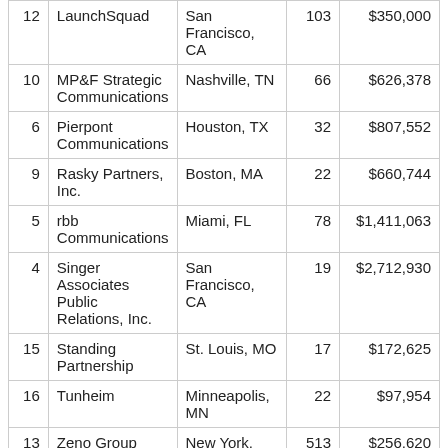|  | Firm | Location | Employees | Revenue |
| --- | --- | --- | --- | --- |
| 12 | LaunchSquad | San Francisco, CA | 103 | $350,000 |
| 10 | MP&F Strategic Communications | Nashville, TN | 66 | $626,378 |
| 6 | Pierpont Communications | Houston, TX | 32 | $807,552 |
| 9 | Rasky Partners, Inc. | Boston, MA | 22 | $660,744 |
| 5 | rbb Communications | Miami, FL | 78 | $1,411,063 |
| 4 | Singer Associates Public Relations, Inc. | San Francisco, CA | 19 | $2,712,930 |
| 15 | Standing Partnership | St. Louis, MO | 17 | $172,625 |
| 16 | Tunheim | Minneapolis, MN | 22 | $97,954 |
| 13 | Zeno Group | New York, NY | 513 | $256,620 |
The firms ranked above have satisfied the O'Dwyer ranking requirements for members to state...